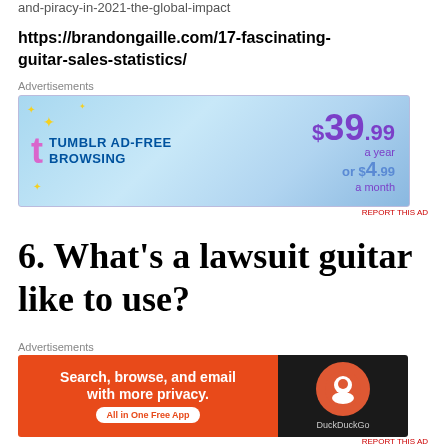and-piracy-in-2021-the-global-impact
https://brandongaille.com/17-fascinating-guitar-sales-statistics/
[Figure (screenshot): Tumblr Ad-Free Browsing advertisement banner. Shows Tumblr logo, text 'TUMBLR AD-FREE BROWSING', price $39.99 a year or $4.99 a month. Blue gradient background.]
6. What's a lawsuit guitar like to use?
I did buy a lawsuit guitar when I
[Figure (screenshot): DuckDuckGo advertisement banner. Shows 'Search, browse, and email with more privacy. All in One Free App' on orange background with DuckDuckGo logo on dark background.]